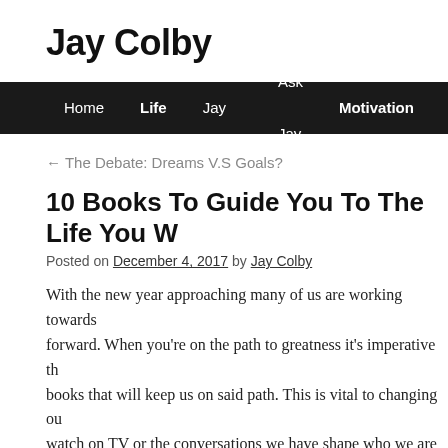Jay Colby
Home   Life   About Jay Colby   Ask Jay   Motivation   Relations...
← The Debate: Dreams V.S Goals?
10 Books To Guide You To The Life You W...
Posted on December 4, 2017 by Jay Colby
With the new year approaching many of us are working towards forward. When you're on the path to greatness it's imperative th books that will keep us on said path. This is vital to changing ou watch on TV or the conversations we have shape who we are ra setting aside sometime to read and explore different concepts ar
Here are 10 books that are absolutely game changers for anyone